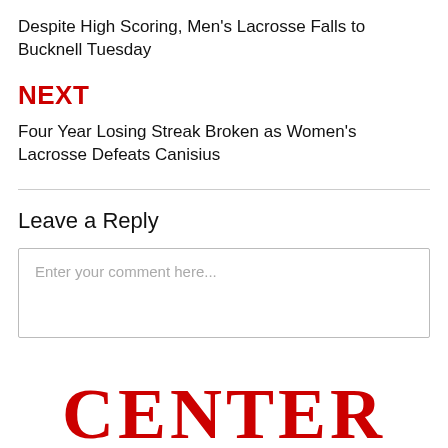Despite High Scoring, Men's Lacrosse Falls to Bucknell Tuesday
NEXT
Four Year Losing Streak Broken as Women's Lacrosse Defeats Canisius
Leave a Reply
Enter your comment here...
[Figure (logo): CENTER logo in red serif font]